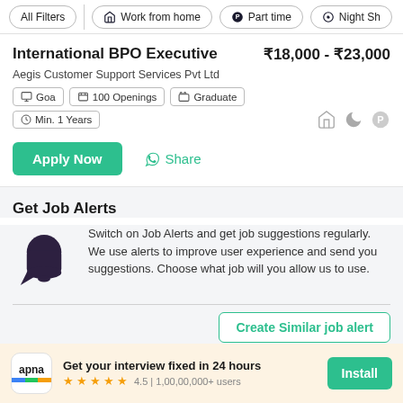All Filters | Work from home | Part time | Night Sh
International BPO Executive ₹18,000 - ₹23,000
Aegis Customer Support Services Pvt Ltd
Goa   100 Openings   Graduate   Min. 1 Years
Apply Now  Share
Get Job Alerts
Switch on Job Alerts and get job suggestions regularly. We use alerts to improve user experience and send you suggestions. Choose what job will you allow us to use.
Create Similar job alert
Get your interview fixed in 24 hours 4.5 | 1,00,00,000+ users  Install